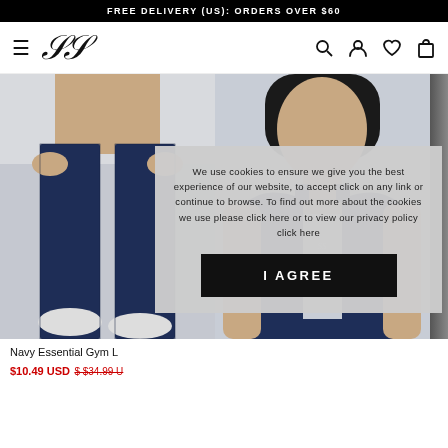FREE DELIVERY (US): ORDERS OVER $60
[Figure (screenshot): SikSilk logo and navigation bar with hamburger menu, cursive SS logo, search, account, wishlist, and cart icons]
[Figure (photo): Navy blue gym leggings product photo on left, navy sports crop top product photo in center, partial third product on right]
We use cookies to ensure we give you the best experience of our website, to accept click on any link or continue to browse. To find out more about the cookies we use please click here or to view our privacy policy click here
I AGREE
Navy Essential Gym L
$10.49 USD $ $34.99 U